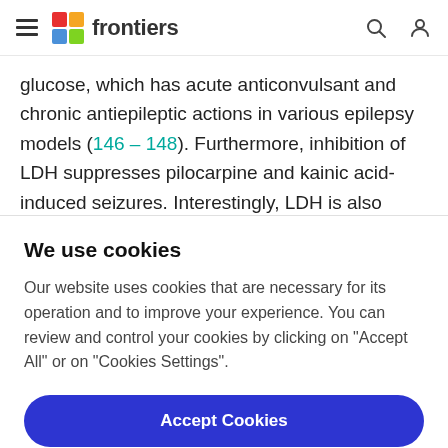frontiers (navigation bar with hamburger menu, logo, search and account icons)
glucose, which has acute anticonvulsant and chronic antiepileptic actions in various epilepsy models (146–148). Furthermore, inhibition of LDH suppresses pilocarpine and kainic acid-induced seizures. Interestingly, LDH is also inhibited by the AED stiripentol
We use cookies
Our website uses cookies that are necessary for its operation and to improve your experience. You can review and control your cookies by clicking on "Accept All" or on "Cookies Settings".
Accept Cookies
Cookies Settings